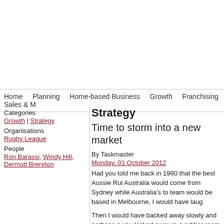Home  Planning  Home-based Business  Growth  Franchising  Sales & M
Strategy
Time to storm into a new market
By Taskmaster
Monday, 01 October 2012
Had you told me back in 1980 that the best Aussie Rul Australia would come from Sydney while Australia's to team would be based in Melbourne, I would have laug
Then I would have backed away slowly and perhaps a you locked away in a rubber room.
Yet here we are in 2012 and that's exactly what has ha
Of course, the traditionalist in me is outraged over this good ol' days. Nothing quite like having a pie in the out build character, I say.
Categories
Growth | Strategy
Organisations
Rugby League
People
Ron Barassi, Windy Hill, Dermott Brereton